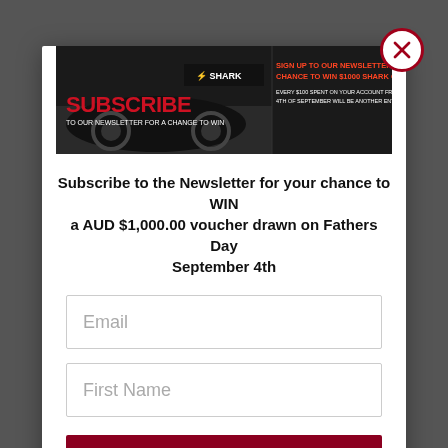[Figure (illustration): Shark brand promotional banner: motorcycle image on left, bold red text 'SUBSCRIBE TO OUR NEWSLETTER FOR A CHANGE TO WIN', right side orange/red text 'SIGN UP TO OUR NEWSLETTER FOR A CHANCE TO WIN $1000 SHARK CREDIT', smaller text 'EVERY $100 SPENT ON YOUR ACCOUNT FROM NOW UNTIL 4TH OF SEPTEMBER WILL BE ANOTHER ENTRY INTO THE DRAW']
Subscribe to the Newsletter for your chance to WIN a AUD $1,000.00 voucher drawn on Fathers Day September 4th
Email
First Name
Subscribe